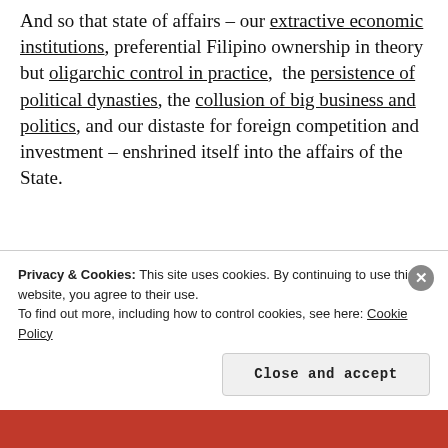And so that state of affairs – our extractive economic institutions, preferential Filipino ownership in theory but oligarchic control in practice,  the persistence of political dynasties, the collusion of big business and politics, and our distaste for foreign competition and investment – enshrined itself into the affairs of the State.
Today, these dynamics result in
Privacy & Cookies: This site uses cookies. By continuing to use this website, you agree to their use. To find out more, including how to control cookies, see here: Cookie Policy
Close and accept